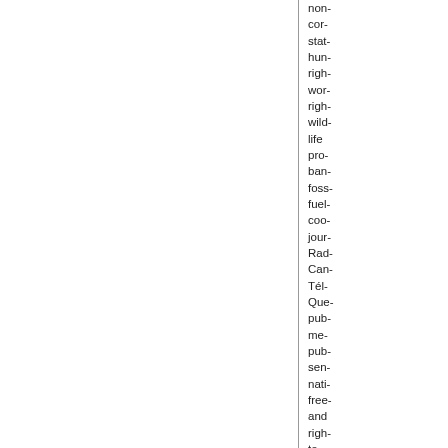non-
cor-
stat-
hun-
righ-
wor-
righ-
wild-
life
pro-
ban-
foss-
fuel-
coo-
jour-
Rad-
Can-
Tél-
Que-
pub-
me-
pub-
sen-
nati-
free-
and
righ-
to
be
info-